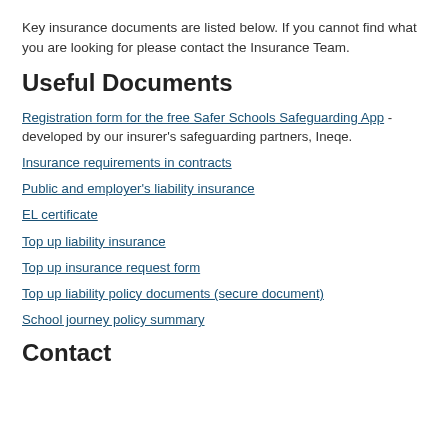Key insurance documents are listed below. If you cannot find what you are looking for please contact the Insurance Team.
Useful Documents
Registration form for the free Safer Schools Safeguarding App - developed by our insurer's safeguarding partners, Ineqe.
Insurance requirements in contracts
Public and employer's liability insurance
EL certificate
Top up liability insurance
Top up insurance request form
Top up liability policy documents (secure document)
School journey policy summary
Contact